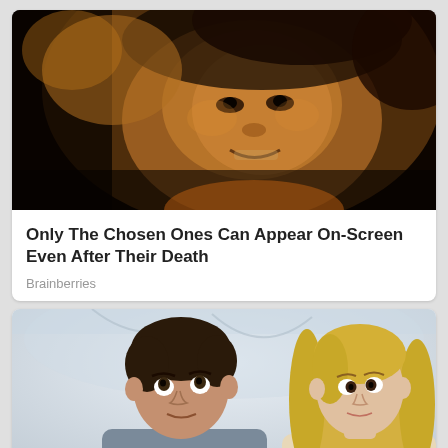[Figure (photo): Close-up photo of a martial arts actor (Bruce Lee) with dramatic warm amber lighting, reaching hand toward camera, intense expression with slight smile]
Only The Chosen Ones Can Appear On-Screen Even After Their Death
Brainberries
[Figure (photo): Two actors from the TV show Friends (Ross and Rachel) in a bedroom scene, man looking upward with surprised expression, woman with long blonde hair looking at him]